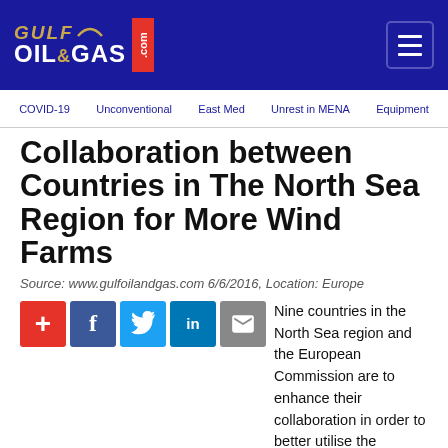Gulf Oil & Gas .com
COVID-19 | Unconventional | East Med | Unrest in MENA | Equipment
Collaboration between Countries in The North Sea Region for More Wind Farms
Source: www.gulfoilandgas.com 6/6/2016, Location: Europe
[Figure (other): Social sharing icons: plus, Facebook, Twitter, LinkedIn, email]
Nine countries in the North Sea region and the European Commission are to enhance their collaboration in order to better utilise the potential of the North Sea as an area for wind farms. Alongside ensuring a secure and affordable energy supply, this will enable a significant contribution to be made to the goal of reducing CO2 emissions